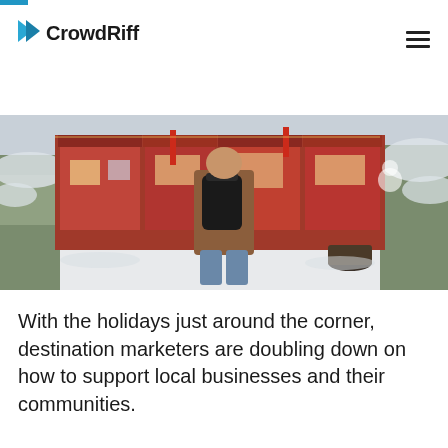CrowdRiff
[Figure (photo): Person wearing a brown jacket with a black backpack walking through a festive outdoor Christmas market with snow-covered trees and red-decorated stalls]
With the holidays just around the corner, destination marketers are doubling down on how to support local businesses and their communities.